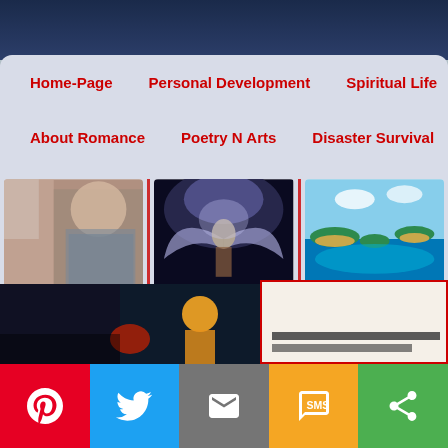Navigation menu: Home-Page | Personal Development | Spiritual Life | Legal R... | About Romance | Poetry N Arts | Disaster Survival | Shop N S...
[Figure (photo): Romantic couple close together, woman in grey top]
How I Am So In Lust With You In Our Relationship
[Figure (photo): Fantasy angel/warrior figure with dramatic wings and stormy sky]
Souvenirs... The Ones You Gave Me To Live By. A Poem
[Figure (photo): Tropical island aerial view with turquoise water]
Where Is My Baby... A Poem
[Figure (photo): Dark image with colorful character, bottom partial strip]
Social share bar: Pinterest, Twitter, Email, SMS, Share